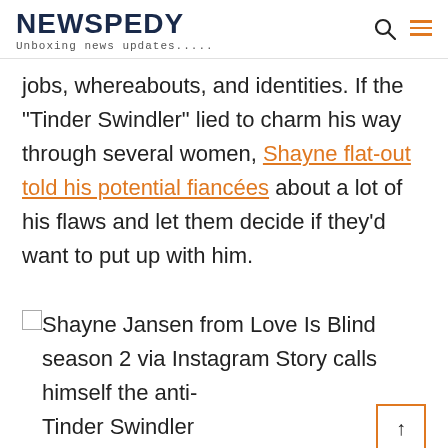NEWSPEDY — Unboxing news updates.....
jobs, whereabouts, and identities. If the “Tinder Swindler” lied to charm his way through several women, Shayne flat-out told his potential fiancées about a lot of his flaws and let them decide if they’d want to put up with him.
[Figure (photo): Shayne Jansen from Love Is Blind season 2 via Instagram Story calls himself the anti-Tinder Swindler — broken image placeholder shown]
Shayne Jansen from Love Is Blind season 2 via Instagram Story calls himself the anti-Tinder Swindler